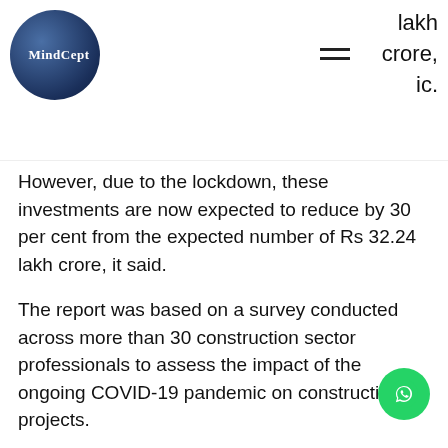MindCept — lakh crore, ic.
However, due to the lockdown, these investments are now expected to reduce by 30 per cent from the expected number of Rs 32.24 lakh crore, it said.
The report was based on a survey conducted across more than 30 construction sector professionals to assess the impact of the ongoing COVID-19 pandemic on construction projects.
Source: https://economictimes.indiatim om/industry/services/property/-